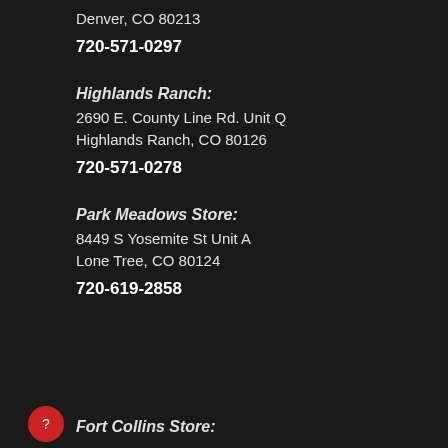Denver, CO 80213
720-571-0297
Highlands Ranch:
2690 E. County Line Rd. Unit Q
Highlands Ranch, CO 80126
720-571-0278
Park Meadows Store:
8449 S Yosemite St Unit A
Lone Tree, CO 80124
720-619-2858
Fort Collins Store: